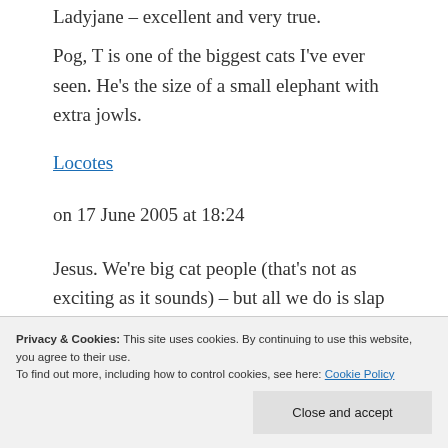Ladyjane – excellent and very true.
Pog, T is one of the biggest cats I've ever seen. He's the size of a small elephant with extra jowls.
Locotes
on 17 June 2005 at 18:24
Jesus. We're big cat people (that's not as exciting as it sounds) – but all we do is slap
Privacy & Cookies: This site uses cookies. By continuing to use this website, you agree to their use.
To find out more, including how to control cookies, see here: Cookie Policy
Close and accept